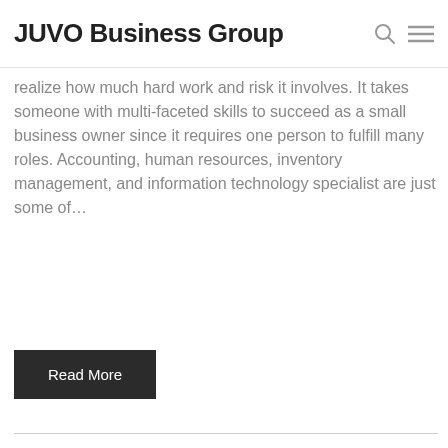JUVO Business Group
realize how much hard work and risk it involves. It takes someone with multi-faceted skills to succeed as a small business owner since it requires one person to fulfill many roles. Accounting, human resources, inventory management, and information technology specialist are just some of…
Read More
[Figure (photo): A man with glasses drinking from a cup, blurred background, with overlay text 'The Ultimate Guide To Business Growth']
The Ultimate Guide To Business Growth